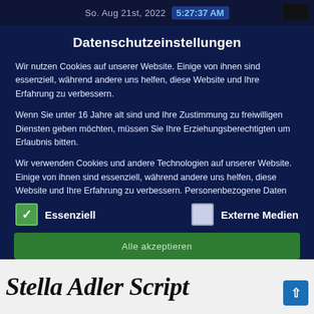So. Aug 21st, 2022   5:27:37 AM
Datenschutzeinstellungen
Wir nutzen Cookies auf unserer Website. Einige von ihnen sind essenziell, während andere uns helfen, diese Website und Ihre Erfahrung zu verbessern.
Wenn Sie unter 16 Jahre alt sind und Ihre Zustimmung zu freiwilligen Diensten geben möchten, müssen Sie Ihre Erziehungsberechtigten um Erlaubnis bitten.
Wir verwenden Cookies und andere Technologien auf unserer Website. Einige von ihnen sind essenziell, während andere uns helfen, diese Website und Ihre Erfahrung zu verbessern. Personenbezogene Daten können verarbeitet werden (z. B. IP-Adressen), z. B. für personalisierte Anzeigen und Inhalte oder
Essenziell
Externe Medien
Alle akzeptieren
Stella Adler Script